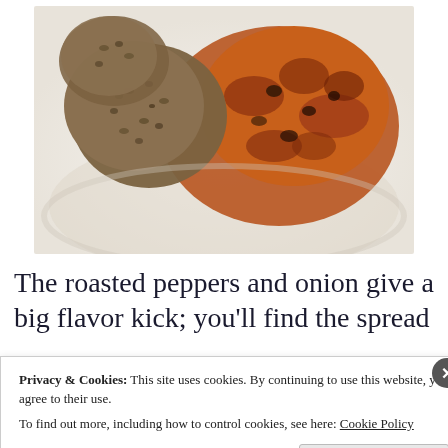[Figure (photo): Food photo showing round seeded crackers/patties and a chunky roasted pepper and onion spread on a white plate]
The roasted peppers and onion give a big flavor kick; you'll find the spread
Privacy & Cookies: This site uses cookies. By continuing to use this website, you agree to their use.
To find out more, including how to control cookies, see here: Cookie Policy
Close and accept